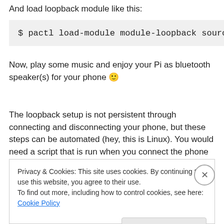And load loopback module like this:
$ pactl load-module module-loopback sourc
Now, play some music and enjoy your Pi as bluetooth speaker(s) for your phone 🙂
The loopback setup is not persistent through connecting and disconnecting your phone, but these steps can be automated (hey, this is Linux). You would need a script that is run when you connect the phone over bluetooth,
Privacy & Cookies: This site uses cookies. By continuing to use this website, you agree to their use.
To find out more, including how to control cookies, see here: Cookie Policy